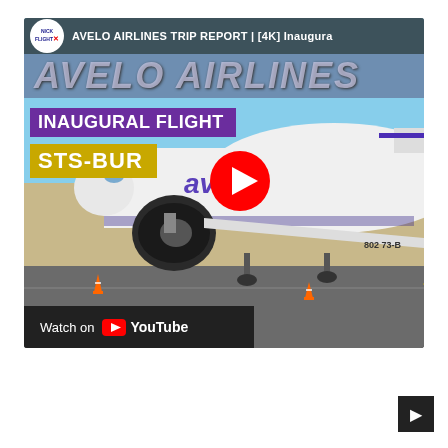[Figure (screenshot): YouTube video thumbnail embed showing an Avelo Airlines Boeing 737 on a tarmac. The thumbnail displays 'AVELO AIRLINES' in large letters, 'INAUGURAL FLIGHT' on a purple banner, 'STS-BUR' on a yellow-gold banner, and a YouTube play button. The channel logo for NickFlightX is visible top-left. A 'Watch on YouTube' bar appears at the bottom-left of the video player. The background shows blue sky and tarmac. Tail number '802 73-B' visible on the aircraft.]